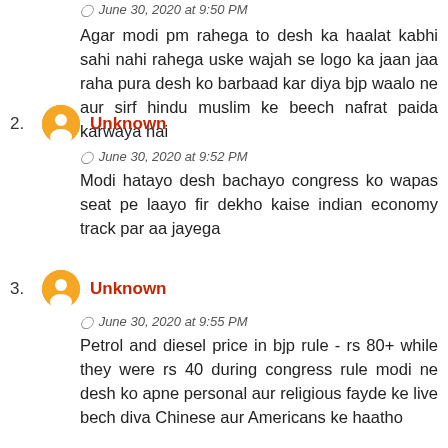June 30, 2020 at 9:50 PM
Agar modi pm rahega to desh ka haalat kabhi sahi nahi rahega uske wajah se logo ka jaan jaa raha pura desh ko barbaad kar diya bjp waalo ne aur sirf hindu muslim ke beech nafrat paida karwaya hai
2. Unknown — June 30, 2020 at 9:52 PM — Modi hatayo desh bachayo congress ko wapas seat pe laayo fir dekho kaise indian economy track par aa jayega
3. Unknown — June 30, 2020 at 9:55 PM — Petrol and diesel price in bjp rule - rs 80+ while they were rs 40 during congress rule modi ne desh ko apne personal aur religious fayde ke live bech diva Chinese aur Americans ke haatho